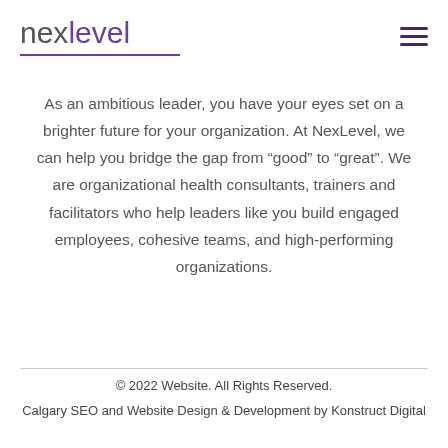[Figure (logo): NexLevel logo — 'nex' in grey, 'level' in purple, with a purple underline beneath]
[Figure (other): Hamburger menu icon (three horizontal purple bars) in top-right corner]
As an ambitious leader, you have your eyes set on a brighter future for your organization. At NexLevel, we can help you bridge the gap from “good” to “great”. We are organizational health consultants, trainers and facilitators who help leaders like you build engaged employees, cohesive teams, and high-performing organizations.
© 2022 Website. All Rights Reserved.
Calgary SEO and Website Design & Development by Konstruct Digital